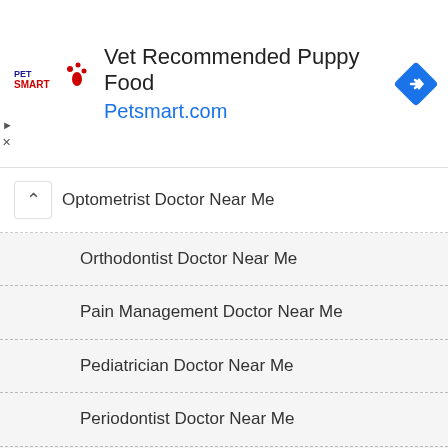[Figure (screenshot): PetSmart advertisement banner with logo, text 'Vet Recommended Puppy Food' and 'Petsmart.com', and a blue navigation arrow icon]
Optometrist Doctor Near Me
Orthodontist Doctor Near Me
Pain Management Doctor Near Me
Pediatrician Doctor Near Me
Periodontist Doctor Near Me
Plastic Surgeon Doctor Near Me
Podiatrist Doctor Near Me
PRIMARY CARE DOCTORS NEAR ME
Psychiatrist Doctor Near Me